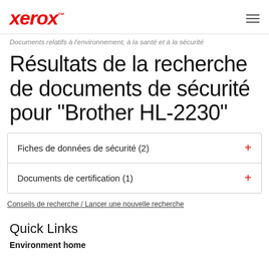xerox™
Documents relatifs à l'environnement, à la santé et à la sécurité
Résultats de la recherche de documents de sécurité pour "Brother HL-2230"
Fiches de données de sécurité (2)
Documents de certification (1)
Conseils de recherche / Lancer une nouvelle recherche
Quick Links
Environment home